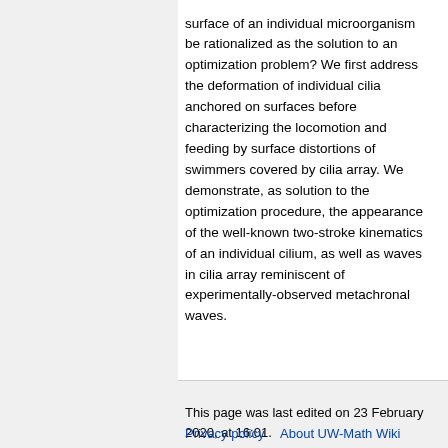surface of an individual microorganism be rationalized as the solution to an optimization problem? We first address the deformation of individual cilia anchored on surfaces before characterizing the locomotion and feeding by surface distortions of swimmers covered by cilia array. We demonstrate, as solution to the optimization procedure, the appearance of the well-known two-stroke kinematics of an individual cilium, as well as waves in cilia array reminiscent of experimentally-observed metachronal waves.
This page was last edited on 23 February 2020, at 16:01.
Privacy policy   About UW-Math Wiki